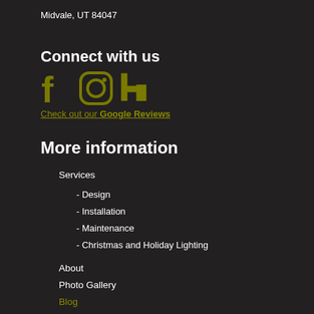Midvale, UT 84047
Connect with us
[Figure (illustration): Three social media icons: Facebook (f), Instagram (camera circle), and Houzz (h shape), all in olive/dark yellow color]
Check out our Google Reviews
More information
Services
- Design
- Installation
- Maintenance
- Christmas and Holiday Lighting
About
Photo Gallery
Blog